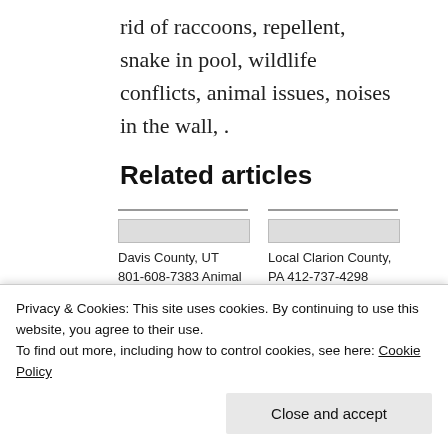rid of raccoons, repellent, snake in pool, wildlife conflicts, animal issues, noises in the wall, .
Related articles
Davis County, UT 801-608-7383 Animal Control-Wildlife
Local Clarion County, PA 412-737-4298 Animal Control
Jefferson
Local Wildlife
Privacy & Cookies: This site uses cookies. By continuing to use this website, you agree to their use.
To find out more, including how to control cookies, see here: Cookie Policy
Close and accept